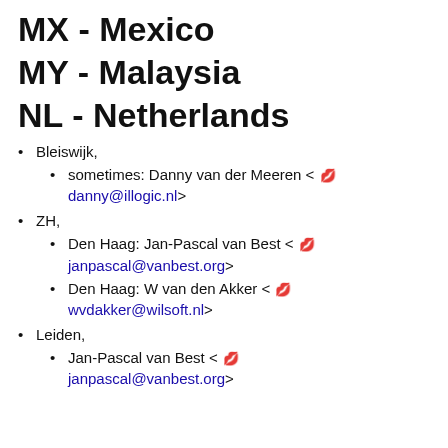MX - Mexico
MY - Malaysia
NL - Netherlands
Bleiswijk,
sometimes: Danny van der Meeren < danny@illogic.nl>
ZH,
Den Haag: Jan-Pascal van Best < janpascal@vanbest.org>
Den Haag: W van den Akker < wvdakker@wilsoft.nl>
Leiden,
Jan-Pascal van Best < janpascal@vanbest.org>